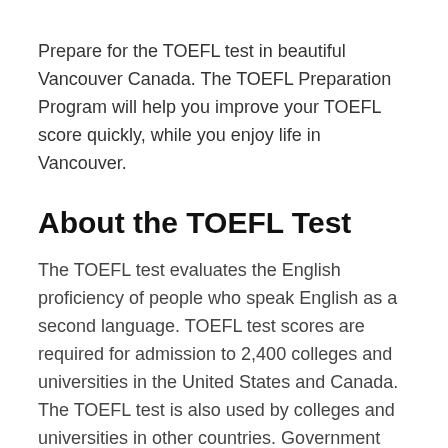Prepare for the TOEFL test in beautiful Vancouver Canada. The TOEFL Preparation Program will help you improve your TOEFL score quickly, while you enjoy life in Vancouver.
About the TOEFL Test
The TOEFL test evaluates the English proficiency of people who speak English as a second language. TOEFL test scores are required for admission to 2,400 colleges and universities in the United States and Canada. The TOEFL test is also used by colleges and universities in other countries. Government agencies use TOEFL scores to evaluate English language proficiency.
Taking the TOEFL Test in Canada